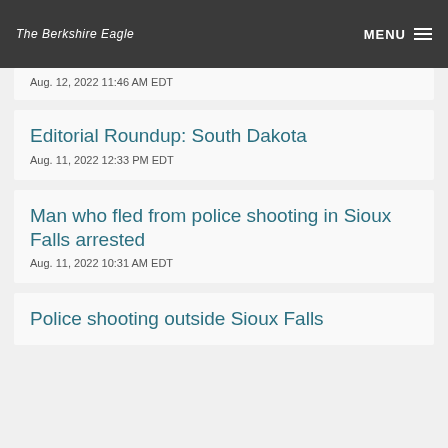The Berkshire Eagle | MENU
Aug. 12, 2022 11:46 AM EDT
Editorial Roundup: South Dakota
Aug. 11, 2022 12:33 PM EDT
Man who fled from police shooting in Sioux Falls arrested
Aug. 11, 2022 10:31 AM EDT
Police shooting outside Sioux Falls